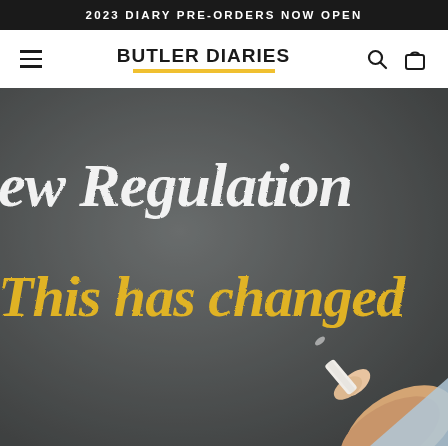2023 DIARY PRE-ORDERS NOW OPEN
BUTLER DIARIES
[Figure (photo): Chalkboard image with white chalk handwritten text 'ew Regulation' and yellow chalk text 'This has changed', with a hand holding a piece of chalk in the bottom right corner.]